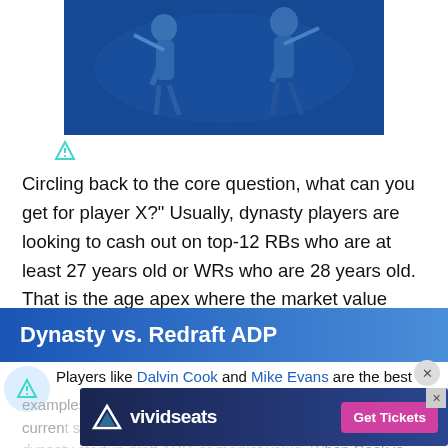[Figure (photo): Blue-tinted sports image showing golf/football players silhouetted against a blue background, centered at top of page]
Circling back to the core question, what can you get for player X?" Usually, dynasty players are looking to cash out on top-12 RBs who are at least 27 years old or WRs who are 28 years old. That is the age apex where the market value starts to decrease.
Dynasty vs. Redraft ADP
Players like Dalvin Cook and Mike Evans are the best examples. Their redraft ADP, the actual value in the current season, is lower than their dynasty startup draft ADP, or market value. When Cook is RB4 in current 2023 dynasty leagues and you can get a...